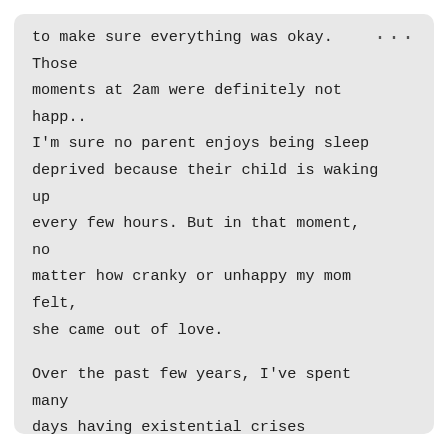to make sure everything was okay. Those moments at 2am were definitely not happ... I'm sure no parent enjoys being sleep deprived because their child is waking up every few hours. But in that moment, no matter how cranky or unhappy my mom felt, she came out of love.

Over the past few years, I've spent many days having existential crises thinking about myself and whether I'm really happy, often sinking into a deeper and deeper hole of self-doubt. When I found myself in this position last year, one of the most unexpected things that helped me